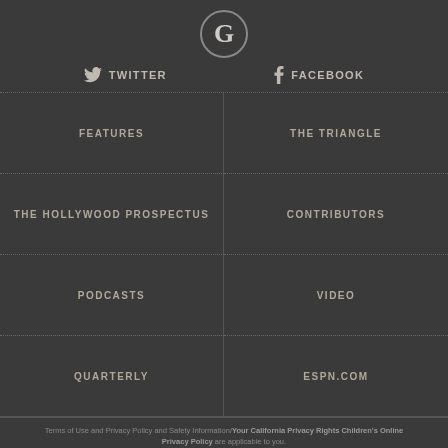[Figure (logo): Circular logo with letter G in serif font on dark background]
TWITTER
FACEBOOK
FEATURES
THE TRIANGLE
THE HOLLYWOOD PROSPECTUS
CONTRIBUTORS
PODCASTS
VIDEO
QUARTERLY
ESPN.COM
Terms of Use and Privacy Policy and Safety Information/Your California Privacy Rights Children's Online Privacy Policy are applicable to you. © 2022 ESPN Internet Ventures. All rights reserved. Interest-Based Ads. Cookie Policy.